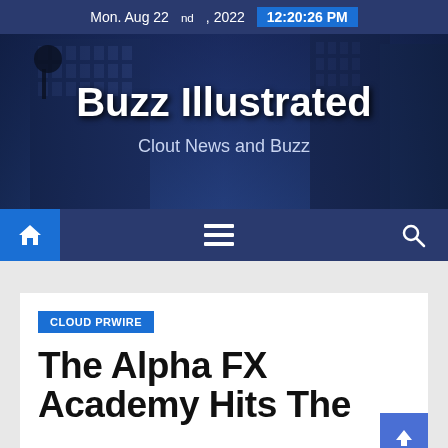Mon. Aug 22nd, 2022  12:20:26 PM
[Figure (illustration): Buzz Illustrated website header banner with city building background. Text: 'Buzz Illustrated' and 'Clout News and Buzz']
Navigation bar with home, menu, and search icons
CLOUD PRWIRE
The Alpha FX Academy Hits The